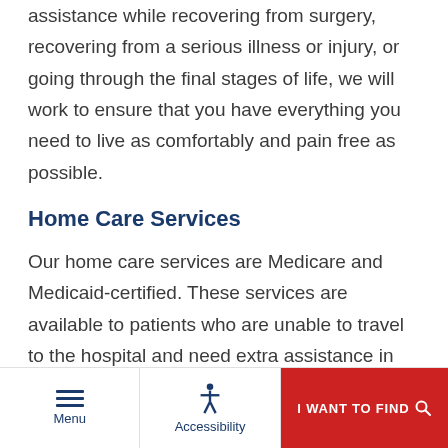assistance while recovering from surgery, recovering from a serious illness or injury, or going through the final stages of life, we will work to ensure that you have everything you need to live as comfortably and pain free as possible.
Home Care Services
Our home care services are Medicare and Medicaid-certified. These services are available to patients who are unable to travel to the hospital and need extra assistance in the household. Our visiting nurses and physicians work closely with patients'